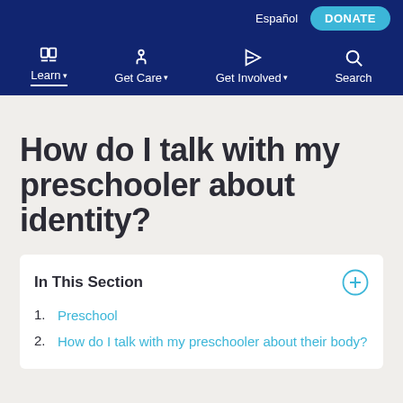Español  DONATE
Learn  Get Care  Get Involved  Search
How do I talk with my preschooler about identity?
In This Section
1. Preschool
2. How do I talk with my preschooler about their body?